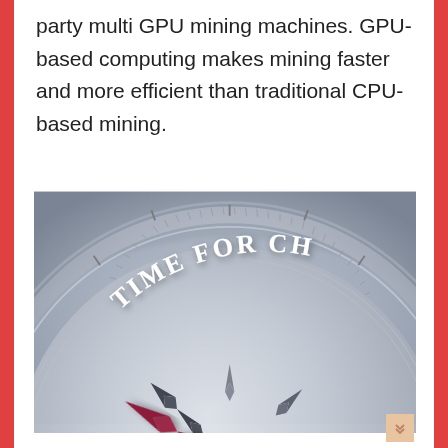party multi GPU mining machines. GPU-based computing makes mining faster and more efficient than traditional CPU-based mining.
[Figure (photo): Close-up photo of a compass with silver metallic finish, showing a red arrow needle pointing toward text reading 'TIME FOR CH...' (TIME FOR CHANGE) along the outer ring. Multiple dark pointed compass rose arrows visible in background.]